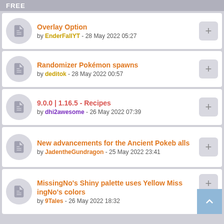FREE
Overlay Option by EnderFallYT - 28 May 2022 05:27
Randomizer Pokémon spawns by deditok - 28 May 2022 00:57
9.0.0 | 1.16.5 - Recipes by dhi2awesome - 26 May 2022 07:39
New advancements for the Ancient Pokeballs by JadentheGundragon - 25 May 2022 23:41
MissingNo's Shiny palette uses Yellow MissingNo's colors by 9Tales - 26 May 2022 18:32